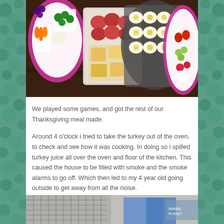[Figure (photo): Overhead view of food trays and platters on a dark wooden table, including pink flower-shaped snack trays with vegetables, fruits, cheese, deli meats, deviled eggs, and other appetizers.]
We played some games, and got the rest of our Thanksgiving meal made.
Around 4 o'clock i tried to take the turkey out of the oven, to check and see how it was cooking. In doing so i spilled turkey juice all over the oven and floor of the kitchen. This caused the house to be filled with smoke and the smoke alarms to go off. Which then led to my 4 year old going outside to get away from all the noise.
[Figure (photo): Bottom portion of a photo showing what appears to be a wire cage/crate on a porch or outdoor area, with a child in blue visible.]